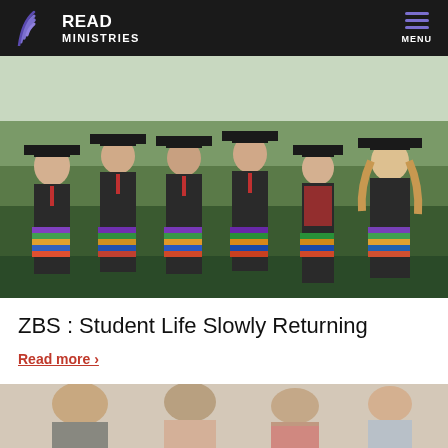READ MINISTRIES  MENU
[Figure (photo): Six graduates in black caps and gowns holding stacks of books, standing outdoors]
ZBS : Student Life Slowly Returning
Read more ›
[Figure (photo): Partial view of people standing together, bottom of page]